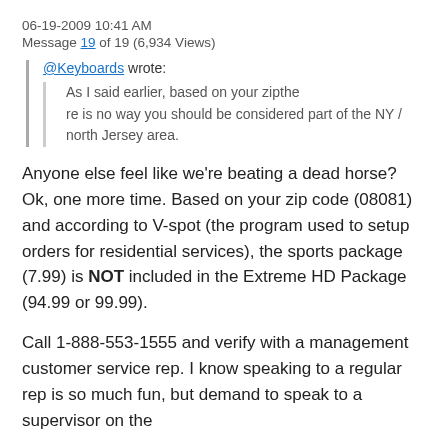06-19-2009 10:41 AM
Message 19 of 19 (6,934 Views)
@Keyboards wrote: As I said earlier, based on your zipthe re is no way you should be considered part of the NY / north Jersey area.
Anyone else feel like we're beating a dead horse? Ok, one more time. Based on your zip code (08081) and according to V-spot (the program used to setup orders for residential services), the sports package (7.99) is NOT included in the Extreme HD Package (94.99 or 99.99).
Call 1-888-553-1555 and verify with a management customer service rep. I know speaking to a regular rep is so much fun, but demand to speak to a supervisor on the